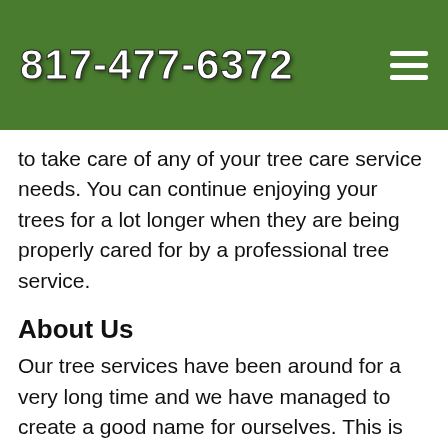817-477-6372
to take care of any of your tree care service needs. You can continue enjoying your trees for a lot longer when they are being properly cared for by a professional tree service.
About Us
Our tree services have been around for a very long time and we have managed to create a good name for ourselves. This is because as a family run operation, we take every job that we are asked to perform, serious. There is no job that is any less important to us than another. We are firmly